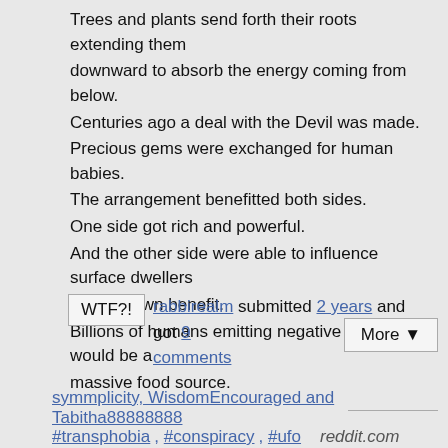Trees and plants send forth their roots extending them downward to absorb the energy coming from below. Centuries ago a deal with the Devil was made. Precious gems were exchanged for human babies. The arrangement benefitted both sides. One side got rich and powerful. And the other side were able to influence surface dwellers for their own benefit. Billions of humans emitting negative energy would be a massive food source.
WTF?! rabbirealm submitted 2 years and got 9 comments More ▼
symmplicity, WisdomEncouraged and Tabitha88888888
#transphobia, #conspiracy, #ufo   reddit.com